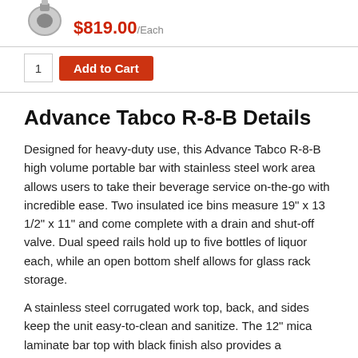[Figure (photo): Product image of Advance Tabco R-8-B portable bar with price $819.00/Each shown]
$819.00/Each
1  Add to Cart
Advance Tabco R-8-B Details
Designed for heavy-duty use, this Advance Tabco R-8-B high volume portable bar with stainless steel work area allows users to take their beverage service on-the-go with incredible ease. Two insulated ice bins measure 19" x 13 1/2" x 11" and come complete with a drain and shut-off valve. Dual speed rails hold up to five bottles of liquor each, while an open bottom shelf allows for glass rack storage.
A stainless steel corrugated work top, back, and sides keep the unit easy-to-clean and sanitize. The 12" mica laminate bar top with black finish also provides a professional, polished look for your guests and customers. Two towel rings are fitted onto the countertop for easy access to bar towels and, for added convenience, transportation is easy thanks to four 6" heavy-duty casters. Two of the casters include brakes, making this portable bar the perfect piece of beverage equipment for nearly any